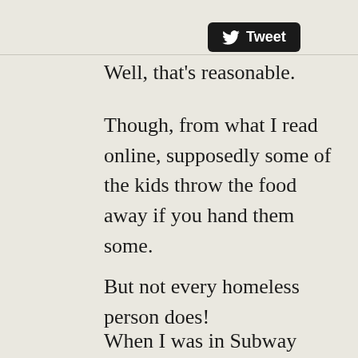[Figure (screenshot): Twitter Tweet button with bird logo, black rounded rectangle]
Well, that's reasonable.
Though, from what I read online, supposedly some of the kids throw the food away if you hand them some.
But not every homeless person does!
When I was in Subway years ago in Mexico City, some homeless